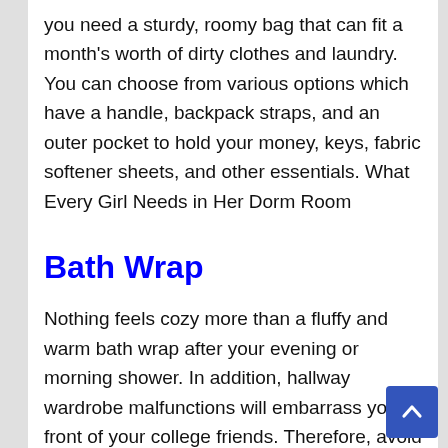you need a sturdy, roomy bag that can fit a month's worth of dirty clothes and laundry. You can choose from various options which have a handle, backpack straps, and an outer pocket to hold your money, keys, fabric softener sheets, and other essentials. What Every Girl Needs in Her Dorm Room
Bath Wrap
Nothing feels cozy more than a fluffy and warm bath wrap after your evening or morning shower. In addition, hallway wardrobe malfunctions will embarrass you in front of your college friends. Therefore, avoid this by buying a no-slip wrap with Velcro closure and elastic band to strengthen the hold.